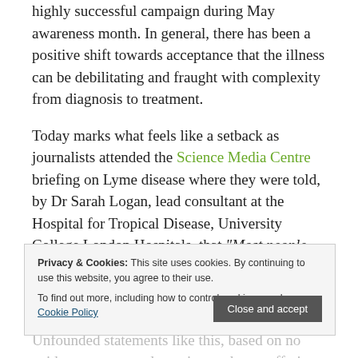highly successful campaign during May awareness month. In general, there has been a positive shift towards acceptance that the illness can be debilitating and fraught with complexity from diagnosis to treatment.
Today marks what feels like a setback as journalists attended the Science Media Centre briefing on Lyme disease where they were told, by Dr Sarah Logan, lead consultant at the Hospital for Tropical Disease, University College London Hospitals, that “Most people who now think that they may have had Lyme disease, in fact have a syndrome that is more in keeping with chronic fatigue syndrome.” Unfounded statements like this, based on no evidence, are very damaging to those suffering from tick-borne infections and the anger in the Lyme disease community is palpable. Those who are chronically ill know only too well how comments like the ones made today, by those in
Privacy & Cookies: This site uses cookies. By continuing to use this website, you agree to their use. To find out more, including how to control cookies, see here: Cookie Policy [Close and accept]